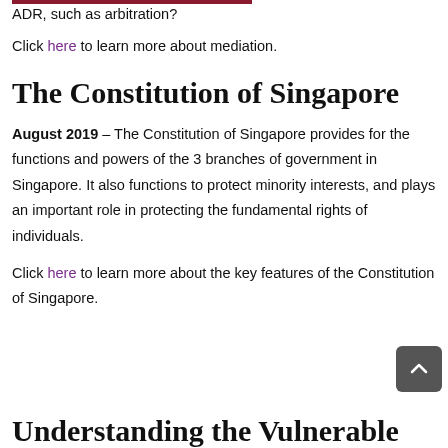ADR, such as arbitration?
Click here to learn more about mediation.
The Constitution of Singapore
August 2019 – The Constitution of Singapore provides for the functions and powers of the 3 branches of government in Singapore. It also functions to protect minority interests, and plays an important role in protecting the fundamental rights of individuals.
Click here to learn more about the key features of the Constitution of Singapore.
Understanding the Vulnerable